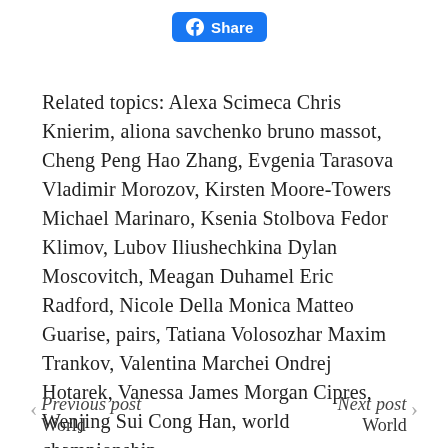[Figure (other): Facebook Share button with blue background and share icon]
Related topics: Alexa Scimeca Chris Knierim, aliona savchenko bruno massot, Cheng Peng Hao Zhang, Evgenia Tarasova Vladimir Morozov, Kirsten Moore-Towers Michael Marinaro, Ksenia Stolbova Fedor Klimov, Lubov Iliushechkina Dylan Moscovitch, Meagan Duhamel Eric Radford, Nicole Della Monica Matteo Guarise, pairs, Tatiana Volosozhar Maxim Trankov, Valentina Marchei Ondrej Hotarek, Vanessa James Morgan Cipres, Wenjing Sui Cong Han, world championship
Previous post  World  |  Next post  World